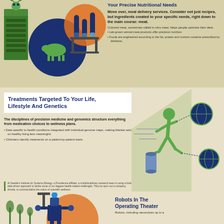Your Precise Nutritional Needs
Move over, meal delivery services. Consider not just recipes, but ingredients created to your specific needs, right down to the main course: meat.
Cultured meat, sometimes called in-vitro meat, helps people optimize their diets.
Lab-grown animal meat products offer precision nutrition.
Foods are engineered according to the fat, protein and nutrient contents prescribed by dietitians.
[Figure (illustration): Lab equipment illustration with green cabinets, blue globe with cow, test tubes, orange flask, robot character]
Treatments Targeted To Your Life, Lifestyle And Genetics
The disciplines of precision medicine and genomics structure everything from medication choices to wellness plans.
Data specific to health conditions integrated with individual genome maps, making blanket advice on healthy living less meaningful.
Clinicians identify treatments on a patient-by-patient basis.
At Seattle's Institute for Systems Biology, a Providence affiliate, a multidisciplinary research team is using a holistic, data-driven approach to tackle some of our biggest health-related challenges. They've spun out a company, Arivale, to commercialize the notion of scientific wellness.
[Figure (illustration): Running human figure in green with genome/globe icons connected by lines, representing precision medicine]
Robots In The Operating Theater
Robots, including nanorobots up to a
[Figure (illustration): Surgical robot illustration with blue robot arm, orange circle background, green plant elements]